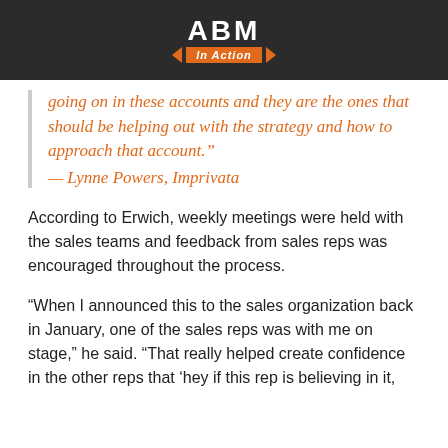ABM In Action
going on in these accounts and they are the ones that should be helping out with the strategy and how to approach that account." — Lynne Powers, Imprivata
According to Erwich, weekly meetings were held with the sales teams and feedback from sales reps was encouraged throughout the process.
“When I announced this to the sales organization back in January, one of the sales reps was with me on stage,” he said. “That really helped create confidence in the other reps that ‘hey if this rep is believing in it,